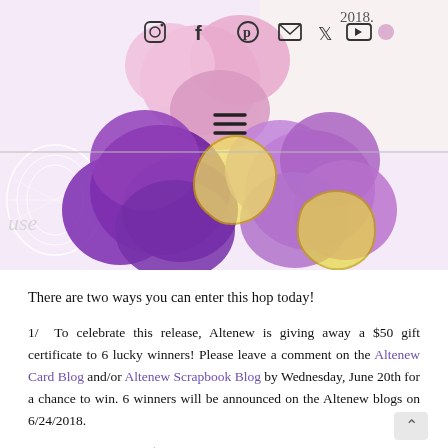[Figure (photo): A photograph of purple and pink flower-shaped paper embellishments and die-cuts on a craft/scrapbooking project, with social media icons (Instagram, Facebook, Pinterest, email, Twitter, YouTube) overlaid at the top and a hamburger menu icon in the middle.]
There are two ways you can enter this hop today!
1/  To celebrate this release, Altenew is giving away a $50 gift certificate to 6 lucky winners! Please leave a comment on the Altenew Card Blog and/or Altenew Scrapbook Blog by Wednesday, June 20th for a chance to win. 6 winners will be announced on the Altenew blogs on 6/24/2018.
2/  You can also win a $30 gift certificate to the Altenew store by simply leaving a comment on this post! I appreciate all the lovely